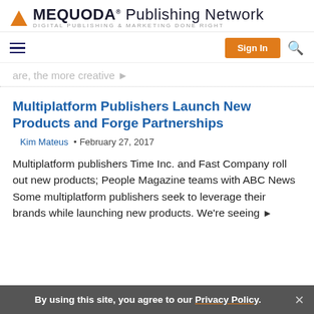[Figure (logo): Mequoda Publishing Network logo with orange triangle, bold MEQUODA text, and tagline DIGITAL PUBLISHING & MARKETING DONE RIGHT]
[Figure (screenshot): Navigation bar with hamburger menu, orange Sign In button, and search icon]
are, the more creative ▶
Multiplatform Publishers Launch New Products and Forge Partnerships
Kim Mateus • February 27, 2017
Multiplatform publishers Time Inc. and Fast Company roll out new products; People Magazine teams with ABC News Some multiplatform publishers seek to leverage their brands while launching new products. We're seeing ▶
By using this site, you agree to our Privacy Policy.